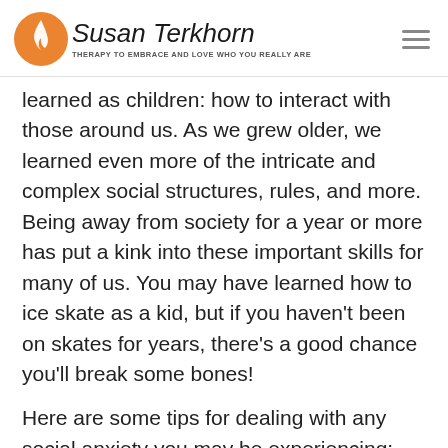Susan Terkhorn — THERAPY TO EMBRACE AND LOVE WHO YOU REALLY ARE
learned as children: how to interact with those around us. As we grew older, we learned even more of the intricate and complex social structures, rules, and more. Being away from society for a year or more has put a kink into these important skills for many of us. You may have learned how to ice skate as a kid, but if you haven't been on skates for years, there's a good chance you'll break some bones!
Here are some tips for dealing with any social anxiety you may be experiencing: